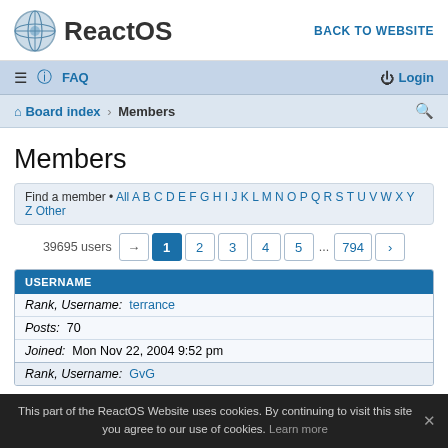[Figure (logo): ReactOS logo with globe icon and text 'ReactOS']
BACK TO WEBSITE
≡  ? FAQ   Login
Board index › Members
Members
Find a member • All A B C D E F G H I J K L M N O P Q R S T U V W X Y Z Other
39695 users  1 2 3 4 5 ... 794 ›
| USERNAME |
| --- |
| Rank, Username: terrance | Posts: 70 | Joined: Mon Nov 22, 2004 9:52 pm |
| Rank, Username: GvG |
This part of the ReactOS Website uses cookies. By continuing to visit this site you agree to our use of cookies. Learn more